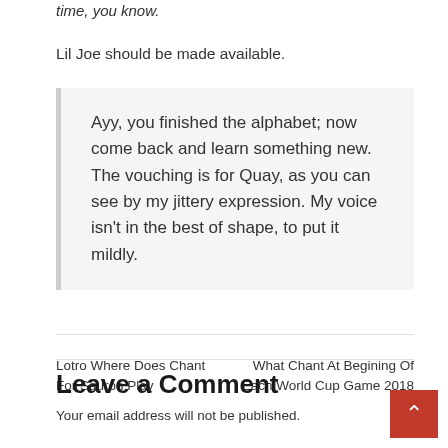time, you know.
Lil Joe should be made available.
Ayy, you finished the alphabet; now come back and learn something new. The vouching is for Quay, as you can see by my jittery expression. My voice isn't in the best of shape, to put it mildly.
Lotro Where Does Chant For Sauron Play
What Chant At Begining Of Each World Cup Game 2018
Leave a Comment
Your email address will not be published.